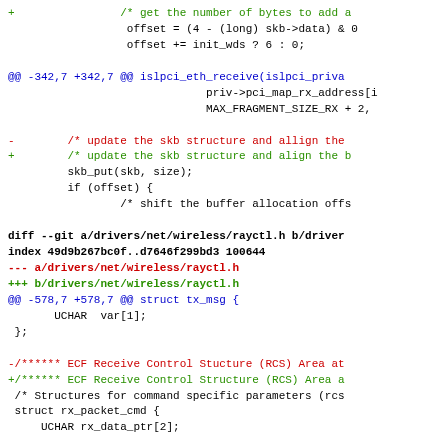Code diff showing changes to wireless driver files (islpci_eth.c and rayctl.h)